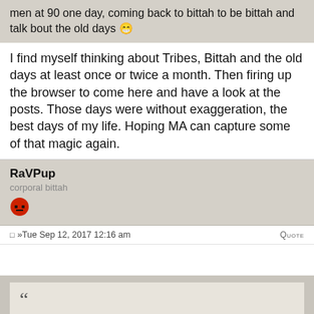men at 90 one day, coming back to bittah to be bittah and talk bout the old days 😁
I find myself thinking about Tribes, Bittah and the old days at least once or twice a month. Then firing up the browser to come here and have a look at the posts. Those days were without exaggeration, the best days of my life. Hoping MA can capture some of that magic again.
RaVPup
corporal bittah
»Tue Sep 12, 2017 12:16 am
QUOTE
I find myself thinking about Tribes, Bittah and the old days at least once or twice a month. Then firing up the browser to come here and have a look at the posts. Those days were without exaggeration, the best days of my life. Hoping MA can capture some of that magic again.
I occasionally upload some of my less-worse moments and I